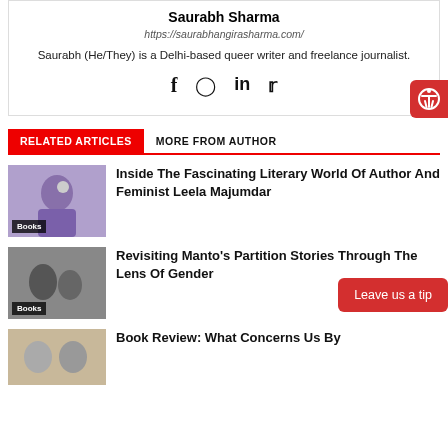Saurabh Sharma
https://saurabhangirasharma.com/
Saurabh (He/They) is a Delhi-based queer writer and freelance journalist.
[Figure (other): Social media icons: Facebook, Instagram, LinkedIn, Twitter]
RELATED ARTICLES
MORE FROM AUTHOR
[Figure (photo): Thumbnail image of Leela Majumdar with purple tint, labeled Books]
Inside The Fascinating Literary World Of Author And Feminist Leela Majumdar
[Figure (photo): Black and white thumbnail image for Manto article, labeled Books]
Revisiting Manto's Partition Stories Through The Lens Of Gender
[Figure (photo): Thumbnail image for Book Review article]
Book Review: What Concerns Us By